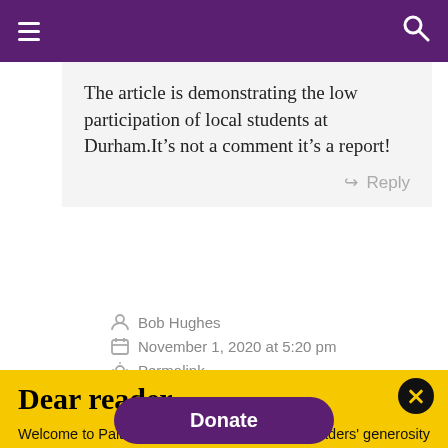Navigation bar with hamburger menu and search icon
The article is demonstrating the low participation of local students at Durham.It’s not a comment it’s a report!
Reply
Bob Hughes
November 1, 2020 at 5:20 pm
Permalink
Dear reader
Welcome to Palatinate's website. We rely on readers' generosity to keep producing award-winning journalism and provide media training opportunities to our team of more than 150 students. Palatinate has produced some of the biggest names in British media, from Jeremy Vine to the late great Sir Harold Evans. Every contribution to Palatinate is an investment into the future of journalism.
Donate